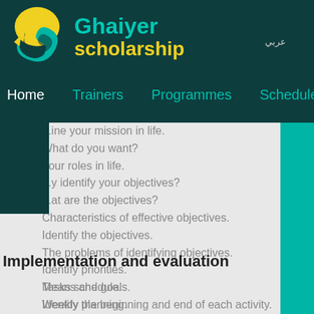[Figure (logo): Ghaiyer Scholarship logo with teal/gold swirl icon and text]
Home  Trainers  Programmes  Schedule
...ine your mission in life.
What do you want?
Your roles in life.
...y identify your objectives?
...at are the objectives?
Characteristics of effective objectives.
Identify the objectives.
The problems of identifying objectives.
Identify priorities.
Means and goals.
Identify the beginning and end of each activity.
Implementation and evaluation
Tasks schedule.
Weekly planning.